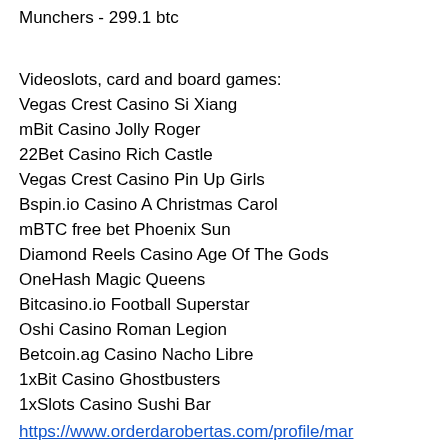Munchers - 299.1 btc
Videoslots, card and board games:
Vegas Crest Casino Si Xiang
mBit Casino Jolly Roger
22Bet Casino Rich Castle
Vegas Crest Casino Pin Up Girls
Bspin.io Casino A Christmas Carol
mBTC free bet Phoenix Sun
Diamond Reels Casino Age Of The Gods
OneHash Magic Queens
Bitcasino.io Football Superstar
Oshi Casino Roman Legion
Betcoin.ag Casino Nacho Libre
1xBit Casino Ghostbusters
1xSlots Casino Sushi Bar
22Bet Casino Cherry Trio
Betcoin.ag Casino Funky Fruits
https://www.orderdarobertas.com/profile/mar